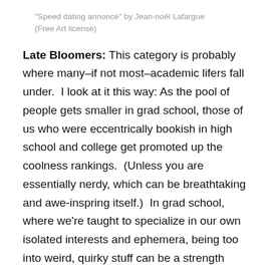"Speed dating annonce" by Jean-noël Lafargue (Free Art license)
Late Bloomers: This category is probably where many–if not most–academic lifers fall under. I look at it this way: As the pool of people gets smaller in grad school, those of us who were eccentrically bookish in high school and college get promoted up the coolness rankings. (Unless you are essentially nerdy, which can be breathtaking and awe-inspring itself.) In grad school, where we're taught to specialize in our own isolated interests and ephemera, being too into weird, quirky stuff can be a strength and an admirable quality, and not the shoulder-shrugging badge of weirdness it might be to the general population. It's easy and natural for academics to find those aspects appealing in their peers, especially when it's hard to identify them anywhere else. And it's all-too-exciting when